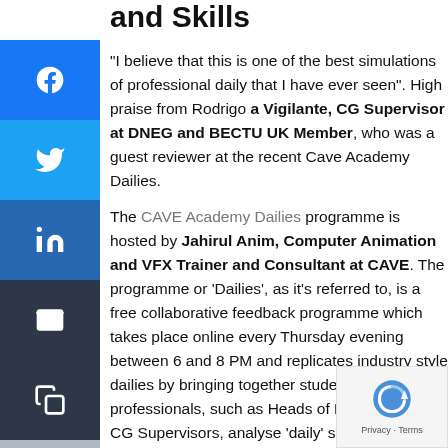and Skills
"I believe that this is one of the best simulations of professional daily that I have ever seen". High praise from Rodrigo a Vigilante, CG Supervisor at DNEG and BECTU UK Member, who was a guest reviewer at the recent Cave Academy Dailies. The CAVE Academy Dailies programme is hosted by Jahirul Anim, Computer Animation and VFX Trainer and Consultant at CAVE. The programme or 'Dailies', as it's referred to, is a free collaborative feedback programme which takes place online every Thursday evening between 6 and 8 PM and replicates industry style dailies by bringing together students and professionals, such as Heads of Department and CG Supervisors, to analyse 'daily' submissions from trainees and provide important feedback to truly enhance